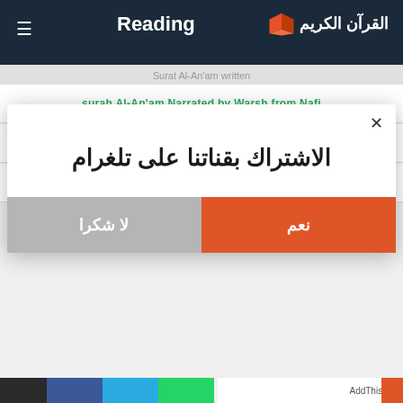Reading | القرآن الكريم
Surat Al-An'am written
surah Al-An'am Narrated by Warsh from Nafi
surah Al-An'am Narrated by Qaloon from Nafi
Download surah Al-An'am pdf
الاشتراك بقناتنا على تلغرام
نعم
لا شكرا
AddThis